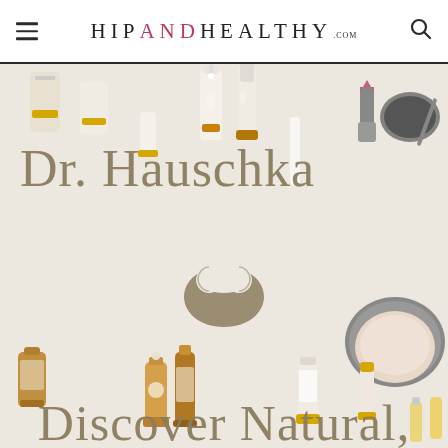HIP AND HEALTHY .com
[Figure (photo): Flatlay photo of Dr. Hauschka skincare and cosmetics products on a white background, including serums, creams, lipstick, powder compact, and various bottles with yellow and gold accents. Overlaid with the Dr. Hauschka brand name and logo symbol, and the beginning of the text 'Discover Natural,' at the bottom.]